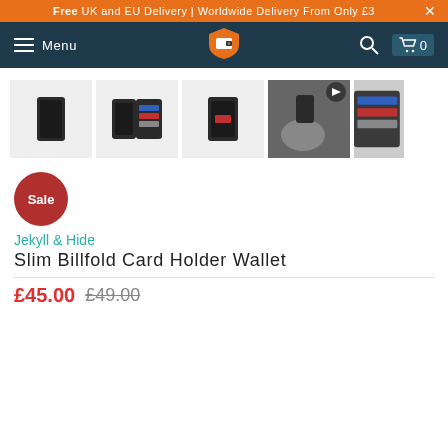Free UK and EU Delivery | Worldwide Delivery From Only £3
[Figure (screenshot): E-commerce navigation bar with hamburger menu, Menu text, wallet logo, search icon, and cart icon with 0 items]
[Figure (photo): Row of product thumbnail images: closed wallet, open wallet with cards, wallet with red detail, hand holding device (video thumbnail with play button), and partial wallet image]
[Figure (other): Red circular Sale badge]
Jekyll & Hide
Slim Billfold Card Holder Wallet
£45.00 £49.00